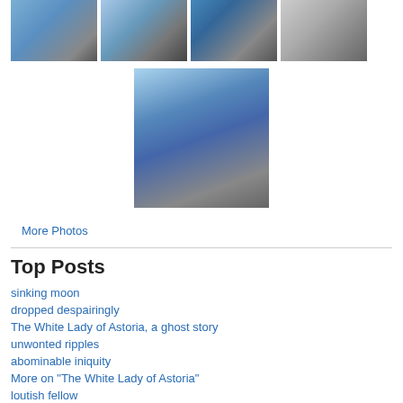[Figure (photo): Four thumbnail photos of subway/train scenes arranged in a row]
[Figure (photo): Single centered photo of a subway train on elevated tracks]
More Photos
Top Posts
sinking moon
dropped despairingly
The White Lady of Astoria, a ghost story
unwonted ripples
abominable iniquity
More on "The White Lady of Astoria"
loutish fellow
half seen
ultimate step